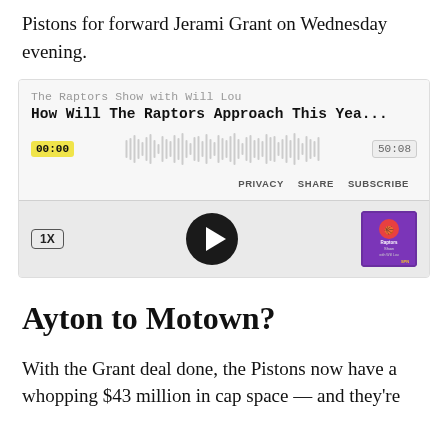Pistons for forward Jerami Grant on Wednesday evening.
[Figure (screenshot): Embedded podcast player for 'The Raptors Show with Will Lou' episode titled 'How Will The Raptors Approach This Yea...' showing waveform, timestamps 00:00 and 50:08, playback controls, speed button 1X, and album art.]
Ayton to Motown?
With the Grant deal done, the Pistons now have a whopping $43 million in cap space — and they're